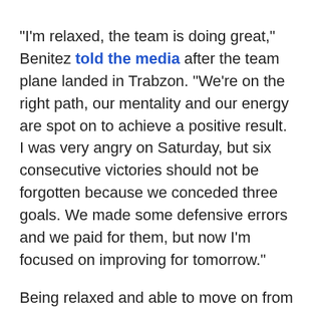"I'm relaxed, the team is doing great," Benitez told the media after the team plane landed in Trabzon. "We're on the right path, our mentality and our energy are spot on to achieve a positive result. I was very angry on Saturday, but six consecutive victories should not be forgotten because we conceded three goals. We made some defensive errors and we paid for them, but now I'm focused on improving for tomorrow."
Being relaxed and able to move on from that defeat will be vital, because Napoli have to find a way to earn, at the worst, a scoring draw against Tabzonspor. Rafa seemed confident that his side can score in the tough environment that playing away matches in Turkey